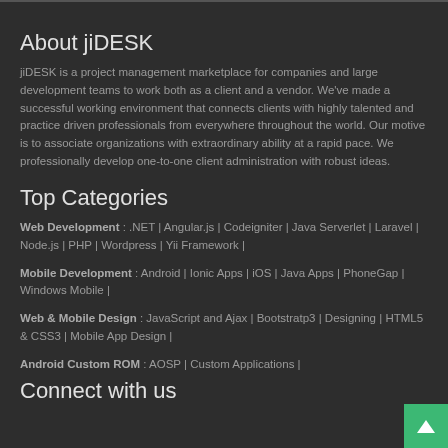About jiDESK
jiDESK is a project management marketplace for companies and large development teams to work both as a client and a vendor. We've made a successful working environment that connects clients with highly talented and practice driven professionals from everywhere throughout the world. Our motive is to associate organizations with extraordinary ability at a rapid pace. We professionally develop one-to-one client administration with robust ideas.
Top Categories
Web Development : .NET | Angular.js | Codeigniter | Java Serverlet | Laravel | Node.js | PHP | Wordpress | Yii Framework |
Mobile Development : Android | Ionic Apps | iOS | Java Apps | PhoneGap | Windows Mobile |
Web & Mobile Design : JavaScript and Ajax | Bootstratp3 | Designing | HTML5 & CSS3 | Mobile App Design |
Android Custom ROM : AOSP | Custom Applications |
Connect with us